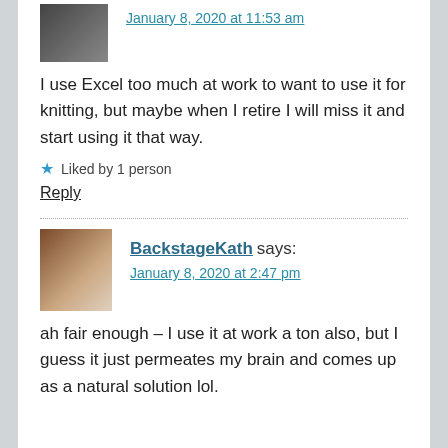January 8, 2020 at 11:53 am
I use Excel too much at work to want to use it for knitting, but maybe when I retire I will miss it and start using it that way.
★ Liked by 1 person
Reply
BackstageKath says:
January 8, 2020 at 2:47 pm
ah fair enough – I use it at work a ton also, but I guess it just permeates my brain and comes up as a natural solution lol.